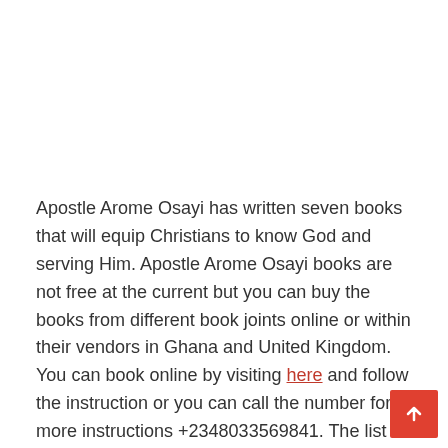Apostle Arome Osayi has written seven books that will equip Christians to know God and serving Him. Apostle Arome Osayi books are not free at the current but you can buy the books from different book joints online or within their vendors in Ghana and United Kingdom. You can book online by visiting here and follow the instruction or you can call the number for more instructions +2348033569841. The list of Apostle Arome Osayi include:
1. The apostle in the Market place by Apostle